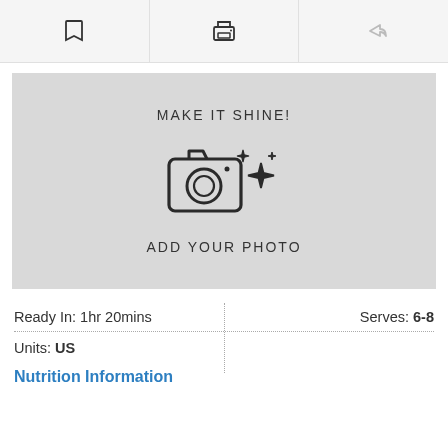[Figure (screenshot): Toolbar with three icon buttons: bookmark, print, and share (arrow)]
[Figure (illustration): Gray placeholder image area with text 'MAKE IT SHINE!' above a camera icon with sparkles, and 'ADD YOUR PHOTO' below]
Ready In: 1hr 20mins
Serves: 6-8
Units: US
Nutrition Information